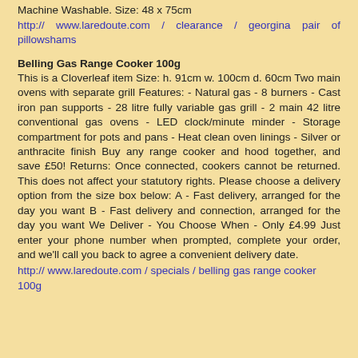Machine Washable. Size: 48 x 75cm
http:// www.laredoute.com / clearance / georgina pair of pillowshams
Belling Gas Range Cooker 100g
This is a Cloverleaf item Size: h. 91cm w. 100cm d. 60cm Two main ovens with separate grill Features: - Natural gas - 8 burners - Cast iron pan supports - 28 litre fully variable gas grill - 2 main 42 litre conventional gas ovens - LED clock/minute minder - Storage compartment for pots and pans - Heat clean oven linings - Silver or anthracite finish Buy any range cooker and hood together, and save £50! Returns: Once connected, cookers cannot be returned. This does not affect your statutory rights. Please choose a delivery option from the size box below: A - Fast delivery, arranged for the day you want B - Fast delivery and connection, arranged for the day you want We Deliver - You Choose When - Only £4.99 Just enter your phone number when prompted, complete your order, and we'll call you back to agree a convenient delivery date.
http:// www.laredoute.com / specials / belling gas range cooker 100g